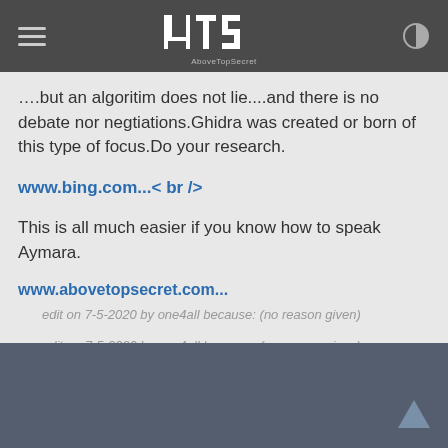4TS AboveTopSecret
....but an algoritim does not lie....and there is no debate nor negtiations.Ghidra was created or born of this type of focus.Do your research.
www.bing.com...< br />
This is all much easier if you know how to speak Aymara.
www.abovetopsecret.com...
edit on 7-5-2020 by one4all because: (no reason given)
edit on 7-5-2020 by one4all because: (no reason given)